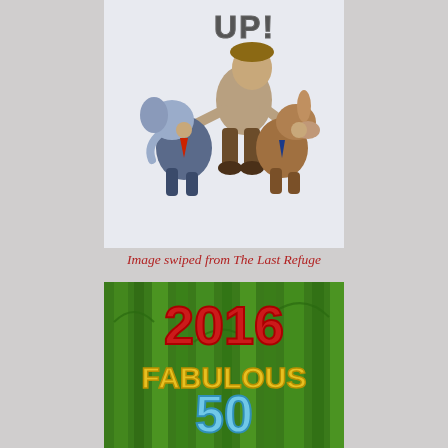[Figure (illustration): Cartoon illustration showing a man in explorer/ranger attire holding up a small elephant character (dressed in a suit) and a donkey character (dressed in a suit), labeled 'UP!' at the top — representing political parody with Republican elephant and Democratic donkey.]
Image swiped from The Last Refuge
[Figure (illustration): Award badge graphic with green bamboo/grass background showing '2016 FABULOUS 50' in large red, yellow/gold, and light blue text, with 'BLOG AWARD' partially visible at the bottom.]